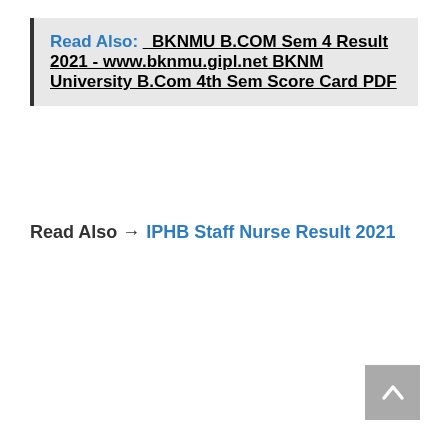Read Also: BKNMU B.COM Sem 4 Result 2021 - www.bknmu.gipl.net BKNM University B.Com 4th Sem Score Card PDF
Read Also → IPHB Staff Nurse Result 2021